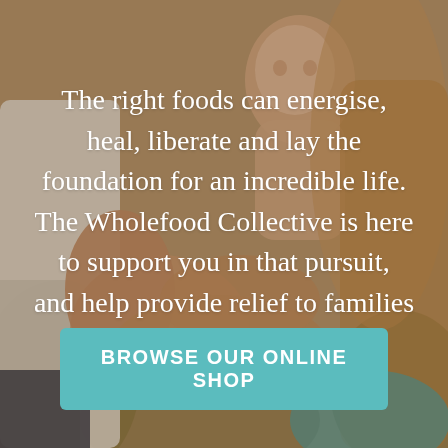[Figure (photo): Background photo of a mother holding a toddler child, warm outdoor tones with blurred greenery in the background. The image has a soft, warm color palette with browns and skin tones.]
The right foods can energise, heal, liberate and lay the foundation for an incredible life. The Wholefood Collective is here to support you in that pursuit, and help provide relief to families doing it tough.
BROWSE OUR ONLINE SHOP